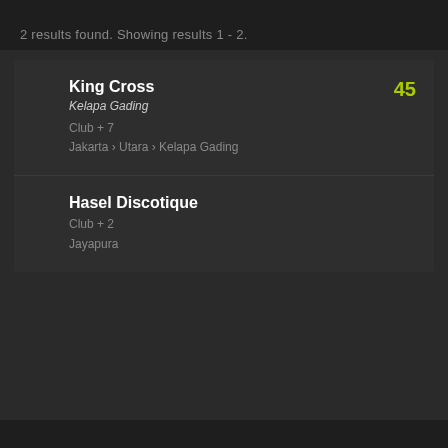2 results found. Showing results 1 - 2.
King Cross
Kelapa Gading
Club + 7
Jakarta › Utara › Kelapa Gading
45
Hasel Discotique
Club + 2
Jayapura